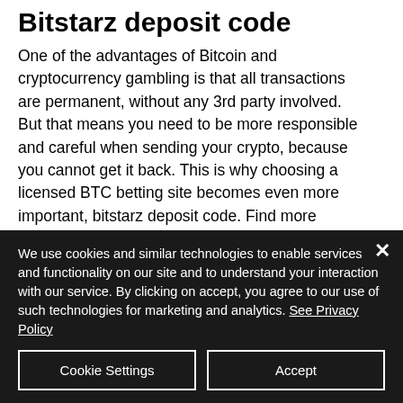Bitstarz deposit code
One of the advantages of Bitcoin and cryptocurrency gambling is that all transactions are permanent, without any 3rd party involved. But that means you need to be more responsible and careful when sending your crypto, because you cannot get it back. This is why choosing a licensed BTC betting site becomes even more important, bitstarz deposit code. Find more bonuses here, bitstarz deposit code.
We use cookies and similar technologies to enable services and functionality on our site and to understand your interaction with our service. By clicking on accept, you agree to our use of such technologies for marketing and analytics. See Privacy Policy
Cookie Settings
Accept